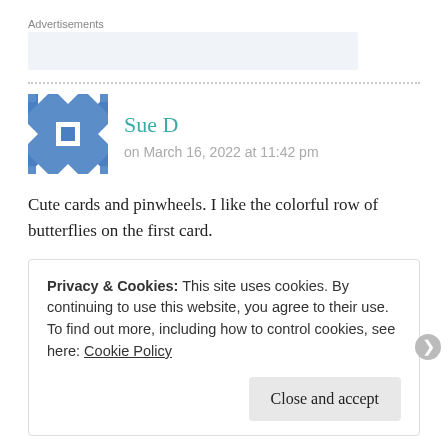Advertisements
[Figure (other): Grey advertisement placeholder box]
Sue D
on March 16, 2022 at 11:42 pm
Cute cards and pinwheels. I like the colorful row of butterflies on the first card.
Privacy & Cookies: This site uses cookies. By continuing to use this website, you agree to their use.
To find out more, including how to control cookies, see here: Cookie Policy
Close and accept